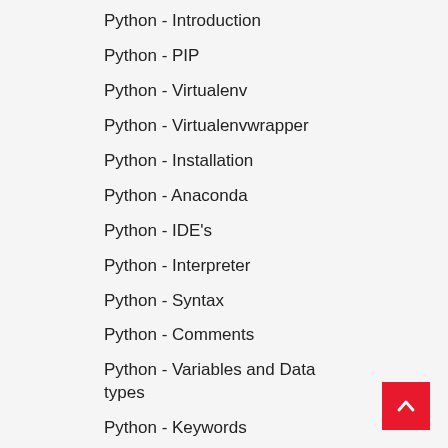Python - Introduction
Python - PIP
Python - Virtualenv
Python - Virtualenvwrapper
Python - Installation
Python - Anaconda
Python - IDE's
Python - Interpreter
Python - Syntax
Python - Comments
Python - Variables and Data types
Python - Keywords
Python - Literals